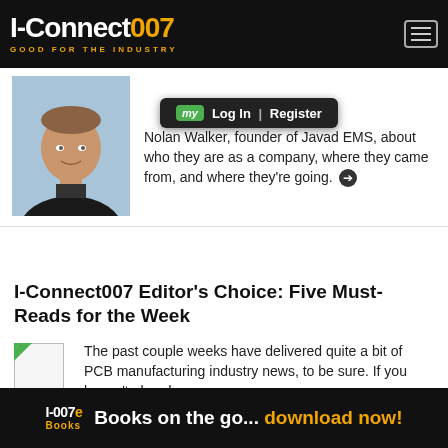I-Connect007 | GOOD FOR THE INDUSTRY
[Figure (photo): Headshot photo of Gary Walker]
Nolan Walker, founder of Javad EMS, about who they are as a company, where they came from, and where they're going.
I-Connect007 Editor's Choice: Five Must-Reads for the Week
[Figure (thumbnail): Small thumbnail image placeholder with green corner]
The past couple weeks have delivered quite a bit of PCB manufacturing industry news, to be sure. If you haven't already
I-007e Books | Books on the go... download now!